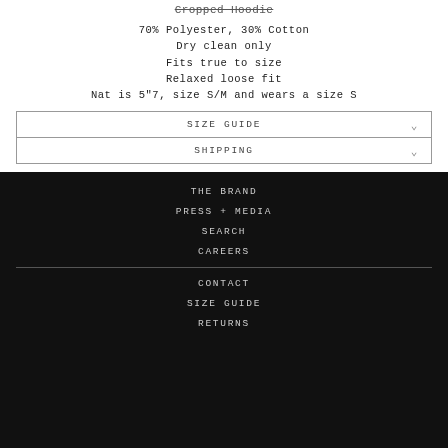Cropped Hoodie
70% Polyester, 30% Cotton
Dry clean only
Fits true to size
Relaxed loose fit
Nat is 5"7, size S/M and wears a size S
| SIZE GUIDE |
| SHIPPING |
THE BRAND
PRESS + MEDIA
SEARCH
CAREERS
CONTACT
SIZE GUIDE
RETURNS